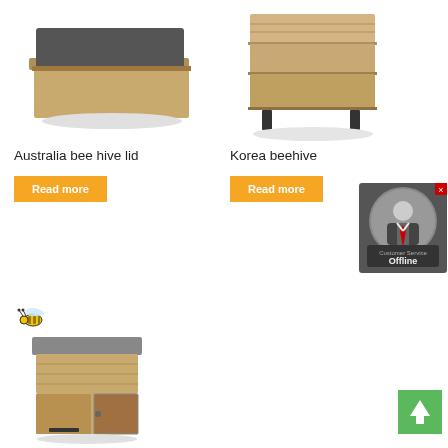[Figure (photo): Australia bee hive lid - flat wooden box with dark rubber lid]
[Figure (photo): Korea beehive - stacked wooden beehive boxes on legs]
Australia bee hive lid
Korea beehive
[Figure (illustration): Customer Service Offline widget - grey circle with businessman avatar]
[Figure (illustration): Bee emoji icon]
[Figure (photo): Wooden beehive box with grey lid and door panel]
Read more
Read more